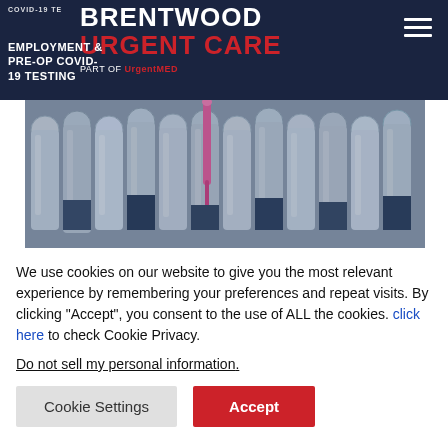BRENTWOOD URGENT CARE — PART OF UrgentMED
EMPLOYMENT & PRE-OP COVID-19 TESTING
[Figure (photo): Close-up photograph of multiple laboratory test tubes with a pink pipette, used for COVID-19 testing]
We use cookies on our website to give you the most relevant experience by remembering your preferences and repeat visits. By clicking "Accept", you consent to the use of ALL the cookies. click here to check Cookie Privacy.
Do not sell my personal information.